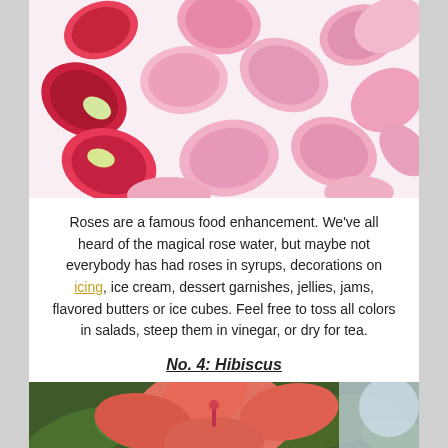[Figure (photo): Rose petals scattered on a white/light pink background, various shades of pink and red petals]
Roses are a famous food enhancement. We've all heard of the magical rose water, but maybe not everybody has had roses in syrups, decorations on icing, ice cream, dessert garnishes, jellies, jams, flavored butters or ice cubes. Feel free to toss all colors in salads, steep them in vinegar, or dry for tea.
No. 4: Hibiscus
[Figure (photo): Close-up of a pink/red hibiscus flower with green leaves background and blurred light background]